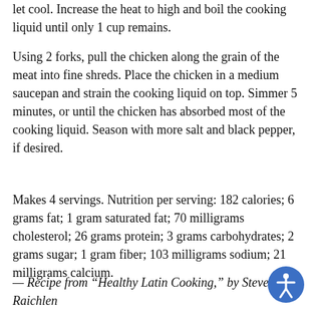let cool. Increase the heat to high and boil the cooking liquid until only 1 cup remains.
Using 2 forks, pull the chicken along the grain of the meat into fine shreds. Place the chicken in a medium saucepan and strain the cooking liquid on top. Simmer 5 minutes, or until the chicken has absorbed most of the cooking liquid. Season with more salt and black pepper, if desired.
Makes 4 servings. Nutrition per serving: 182 calories; 6 grams fat; 1 gram saturated fat; 70 milligrams cholesterol; 26 grams protein; 3 grams carbohydrates; 2 grams sugar; 1 gram fiber; 103 milligrams sodium; 21 milligrams calcium.
— Recipe from “Healthy Latin Cooking,” by Steven Raichlen